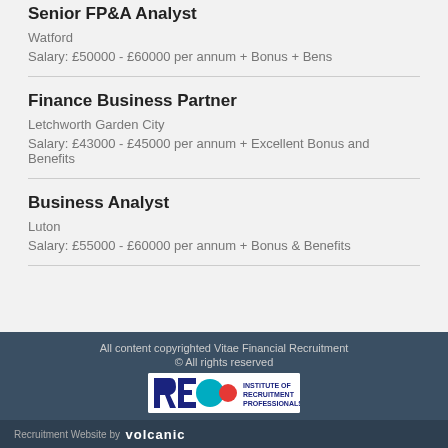Senior FP&A Analyst
Watford
Salary: £50000 - £60000 per annum + Bonus + Bens
Finance Business Partner
Letchworth Garden City
Salary: £43000 - £45000 per annum + Excellent Bonus and Benefits
Business Analyst
Luton
Salary: £55000 - £60000 per annum + Bonus & Benefits
All content copyrighted Vitae Financial Recruitment © All rights reserved Recruitment Website by volcanic